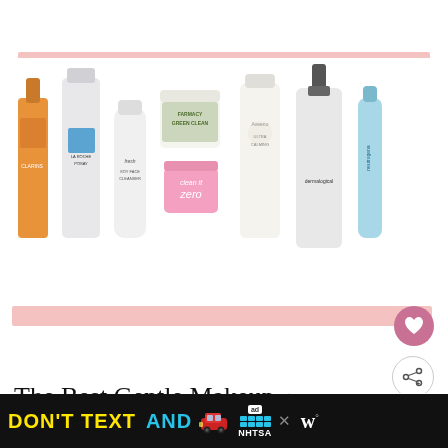[Figure (photo): Collection of skincare/makeup remover products including Clarins, La Roche-Posay, Fresh Soy Face Cleanser, Farmacy Green Clean, Banila Co. Clean It Zero, Aveeno, Dermalogica, and Neutrogena on white background with pink banner bars]
The Best Gentle Makeup Removers For Sensitive Skin In 2022
WHAT'S NEXT → The Best Eyebrow...
[Figure (advertisement): DON'T TEXT AND [car emoji] ad with NHTSA logo on black background, with close button and W logo]